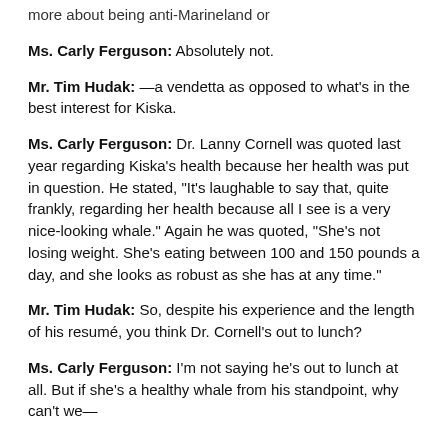more about being anti-Marineland or
Ms. Carly Ferguson: Absolutely not.
Mr. Tim Hudak: —a vendetta as opposed to what's in the best interest for Kiska.
Ms. Carly Ferguson: Dr. Lanny Cornell was quoted last year regarding Kiska's health because her health was put in question. He stated, "It's laughable to say that, quite frankly, regarding her health because all I see is a very nice-looking whale." Again he was quoted, "She's not losing weight. She's eating between 100 and 150 pounds a day, and she looks as robust as she has at any time."
Mr. Tim Hudak: So, despite his experience and the length of his resumé, you think Dr. Cornell's out to lunch?
Ms. Carly Ferguson: I'm not saying he's out to lunch at all. But if she's a healthy whale from his standpoint, why can't we—